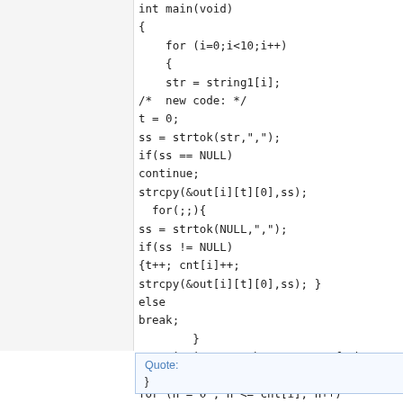int main(void)
{
    for (i=0;i<10;i++)
    {
    str = string1[i];
/*  new code: */
t = 0;
ss = strtok(str,",");
if(ss == NULL)
continue;
strcpy(&out[i][t][0],ss);
  for(;;){
ss = strtok(NULL,",");
if(ss != NULL)
{t++; cnt[i]++;
strcpy(&out[i][t][0],ss); }
else
break;
        }
/* printing out the content of the array "out" */
for (n = 0 ; n <= cnt[i]; n++)
printf(" \nString number %d substring N = %
%s",i,n,out[i][n]);
  }  /* end of "for (i=0;i<10;i++)"  */
Quote:
}